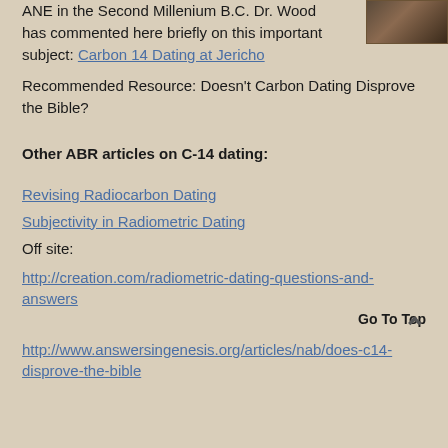ANE in the Second Millenium B.C. Dr. Wood has commented here briefly on this important subject: Carbon 14 Dating at Jericho
Recommended Resource: Doesn't Carbon Dating Disprove the Bible?
Other ABR articles on C-14 dating:
Revising Radiocarbon Dating
Subjectivity in Radiometric Dating
Off site:
http://creation.com/radiometric-dating-questions-and-answers
Go To Top
http://www.answersingenesis.org/articles/nab/does-c14-disprove-the-bible